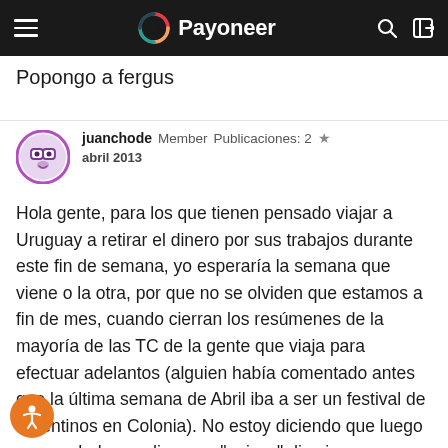Payoneer
Popongo a fergus
juanchode  Member  Publicaciones: 2  ★
abril 2013
Hola gente,  para los que tienen pensado viajar a Uruguay a retirar el dinero por sus trabajos durante este fin de semana, yo esperaría la semana que viene o la otra, por que no se olviden que estamos a fin de mes, cuando cierran los resúmenes de la mayoría de las TC de la gente que viaja para efectuar adelantos (alguien había comentado antes que la última semana de Abril iba a ser un festival de argentinos en Colonia). No estoy diciendo que luego no va a haber nadie, pero "quizas" disminuya un poco el caudal de gente en los cajeros.